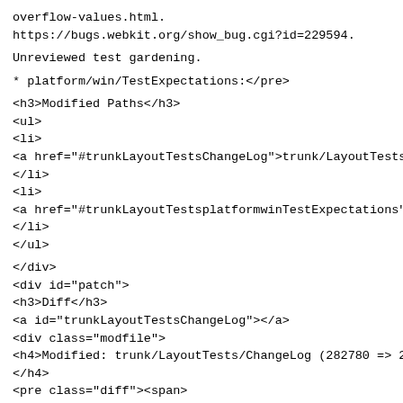overflow-values.html.
https://bugs.webkit.org/show_bug.cgi?id=229594.
Unreviewed test gardening.
* platform/win/TestExpectations:</pre>
<h3>Modified Paths</h3>
<ul>
<li>
<a href="#trunkLayoutTestsChangeLog">trunk/LayoutTests/Ch
</li>
<li>
<a href="#trunkLayoutTestsplatformwinTestExpectations">tr
</li>
</ul>
</div>
<div id="patch">
<h3>Diff</h3>
<a id="trunkLayoutTestsChangeLog"></a>
<div class="modfile">
<h4>Modified: trunk/LayoutTests/ChangeLog (282780 => 2827
</h4>
<pre class="diff"><span>
<span class="info">--
- trunk/LayoutTests/ChangeLog      2021-09-
20 21:05:55 UTC (rev 282780)
+++ trunk/LayoutTests/ChangeLog 2021-09-
20 21:12:34 UTC (rev 282781)